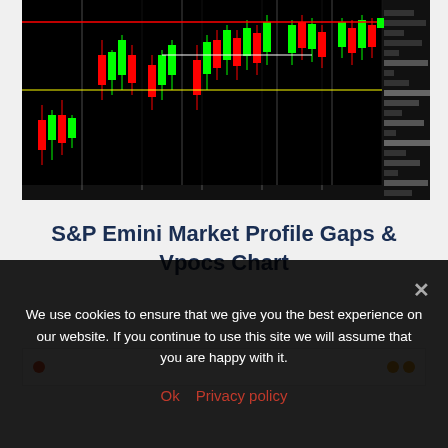[Figure (continuous-plot): S&P Emini Market Profile chart with candlesticks, volume profile on the right side (dark/black background), horizontal lines (red, white, yellow) indicating key price levels and gaps/VPOCs. Multiple trading sessions visible with colored candles on a black background.]
S&P Emini Market Profile Gaps & Vpocs Chart
We use cookies to ensure that we give you the best experience on our website. If you continue to use this site we will assume that you are happy with it.